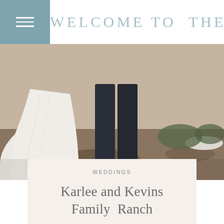WELCOME TO THE BLOG
[Figure (photo): Wedding couple photographed from the waist down outdoors. The bride is wearing a white lace gown with a long train, and the groom is wearing dark jeans and boots. Rocky, earthy ground visible in the background.]
WEDDINGS
Karlee and Kevins Family Ranch
Colorado Ranch Wedding | first met Karly and Keven at their